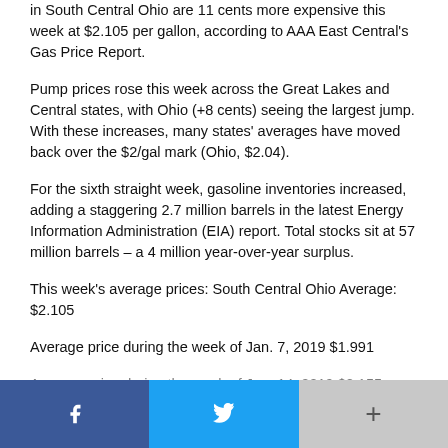in South Central Ohio are 11 cents more expensive this week at $2.105 per gallon, according to AAA East Central's Gas Price Report.
Pump prices rose this week across the Great Lakes and Central states, with Ohio (+8 cents) seeing the largest jump. With these increases, many states' averages have moved back over the $2/gal mark (Ohio, $2.04).
For the sixth straight week, gasoline inventories increased, adding a staggering 2.7 million barrels in the latest Energy Information Administration (EIA) report. Total stocks sit at 57 million barrels – a 4 million year-over-year surplus.
This week's average prices: South Central Ohio Average: $2.105
Average price during the week of Jan. 7, 2019 $1.991
Average price during the week of Jan. 14, 2019 $2.155